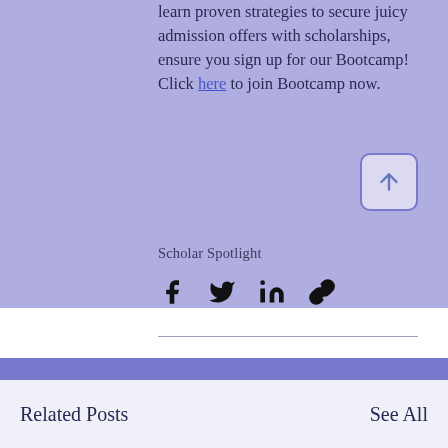learn proven strategies to secure juicy admission offers with scholarships, ensure you sign up for our Bootcamp! Click here to join Bootcamp now.
[Figure (other): Rounded square button with upward arrow icon for scrolling to top]
Scholar Spotlight
[Figure (other): Social media share icons: Facebook, Twitter, LinkedIn, and link/copy icon]
Related Posts
See All
[Figure (photo): Photo of a smiling man in a light blue patterned shirt seated on a gray sofa in a modern office lounge, partially cropped. A circular blue button with three dots is visible at the bottom right.]